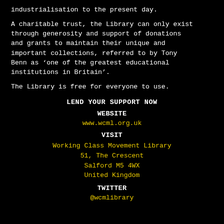industrialisation to the present day.
A charitable trust, the Library can only exist through generosity and support of donations and grants to maintain their unique and important collections, referred to by Tony Benn as ‘one of the greatest educational institutions in Britain’.
The Library is free for everyone to use.
LEND YOUR SUPPORT NOW
WEBSITE
www.wcml.org.uk
VISIT
Working Class Movement Library
51, The Crescent
Salford M5 4WX
United Kingdom
TWITTER
@wcmlibrary